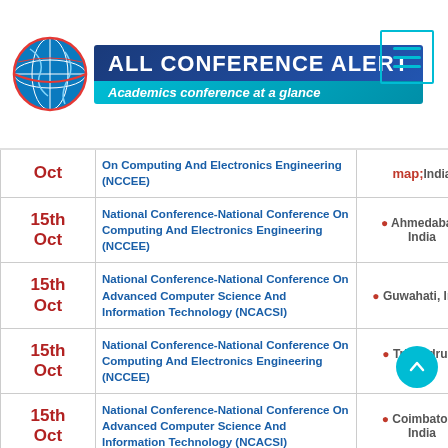[Figure (logo): All Conference Alert logo with globe and brand text]
| Date | Conference Name | Location |
| --- | --- | --- |
| 15th Oct (partial) | National Conference-National Conference On Computing And Electronics Engineering (NCCEE) | India |
| 15th Oct | National Conference-National Conference On Computing And Electronics Engineering (NCCEE) | Ahmedabad, India |
| 15th Oct | National Conference-National Conference On Advanced Computer Science And Information Technology (NCACSI) | Guwahati, India |
| 15th Oct | National Conference-National Conference On Computing And Electronics Engineering (NCCEE) | Trivandrum, India |
| 15th Oct | National Conference-National Conference On Advanced Computer Science And Information Technology (NCACSI) | Coimbatore, India |
| 16th | National Conference-National Conference On Computing And Electronics Engineering (NCCEE) | Chandigarh, India (partial) |